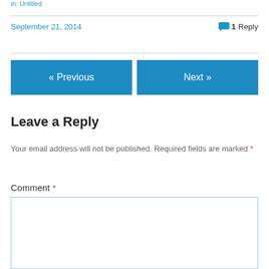in: Untitled
September 21, 2014
1 Reply
« Previous
Next »
Leave a Reply
Your email address will not be published. Required fields are marked *
Comment *